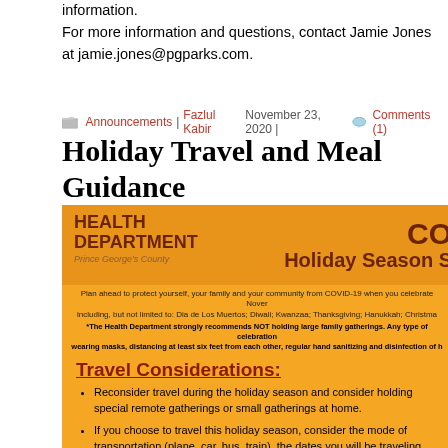information.
For more information and questions, contact Jamie Jones at jamie.jones@pgparks.com.
Announcements | Fazlul Kabir November 23, 2020 | Comments (1)
Holiday Travel and Meal Guidance
[Figure (infographic): Prince George's County Health Department COVID-19 Holiday Season Safety infographic with orange background. Contains Travel Considerations section with bullet points about reconsidering holiday travel and transportation modes.]